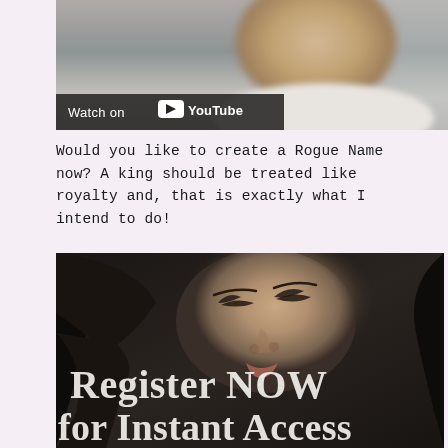[Figure (screenshot): YouTube video thumbnail showing a blurred person in a white shirt. A dark overlay bar at the bottom left reads 'Watch on' followed by the YouTube logo.]
Would you like to create a Rogue Name now? A king should be treated like royalty and, that is exactly what I intend to do!
[Figure (illustration): Dark illustrated/digital-art image of a woman lying down looking upward, with large text overlaid reading 'Register NOW for Instant Access'.]